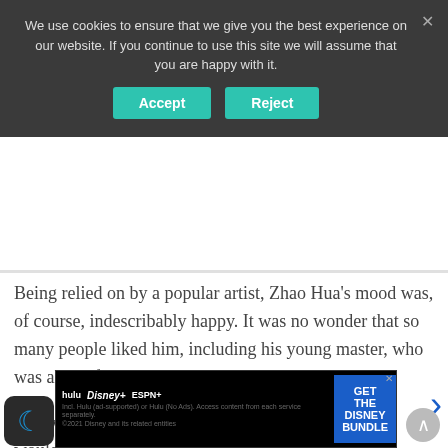We use cookies to ensure that we give you the best experience on our website. If you continue to use this site we will assume that you are happy with it.
Being relied on by a popular artist, Zhao Hua's mood was, of course, indescribably happy. It was no wonder that so many people liked him, including his young master, who was also infatuated with him.
If he was twenty years old and as popular as him, he wouldn't still be so understanding and polite.
Zh... laughed, "You don't have to... directors, we know each other, if you don't make any
[Figure (screenshot): Disney Bundle advertisement banner with Hulu, Disney+, and ESPN+ logos and a 'GET THE DISNEY BUNDLE' call-to-action button]